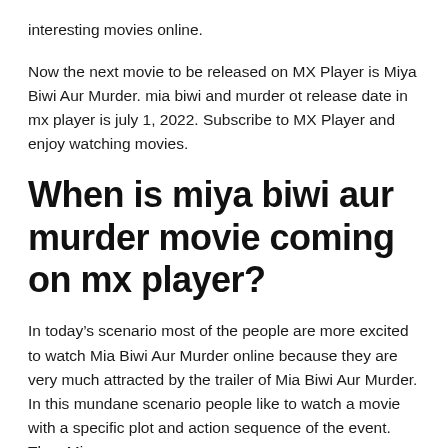interesting movies online.
Now the next movie to be released on MX Player is Miya Biwi Aur Murder. mia biwi and murder ot release date in mx player is july 1, 2022. Subscribe to MX Player and enjoy watching movies.
When is miya biwi aur murder movie coming on mx player?
In today’s scenario most of the people are more excited to watch Mia Biwi Aur Murder online because they are very much attracted by the trailer of Mia Biwi Aur Murder. In this mundane scenario people like to watch a movie with a specific plot and action sequence of the event. Thus Miya